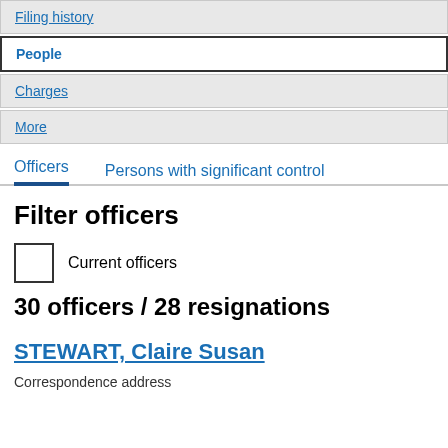Filing history
People
Charges
More
Officers | Persons with significant control
Filter officers
Current officers
30 officers / 28 resignations
STEWART, Claire Susan
Correspondence address